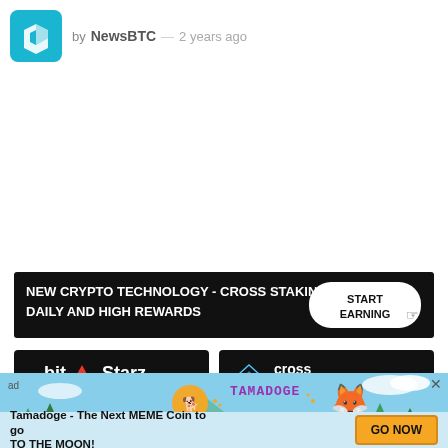by NewsBTC — 2 years ago
[Figure (logo): NewsBTC teal geometric logo mark]
[Figure (screenshot): Banner advertisement: NEW CRYPTO TECHNOLOGY - CROSS STAKING DAILY AND HIGH REWARDS with START EARNING button]
[Figure (logo): BitStarz Award Winning Casino logo on black background]
[Figure (logo): Cross Staking logo on black background]
OKEx, the leading cryptocurrency spot and derivatives trading platform...
[Figure (infographic): Tamadoge advertisement - The Next MEME Coin to go TO THE MOON! with GO NOW button]